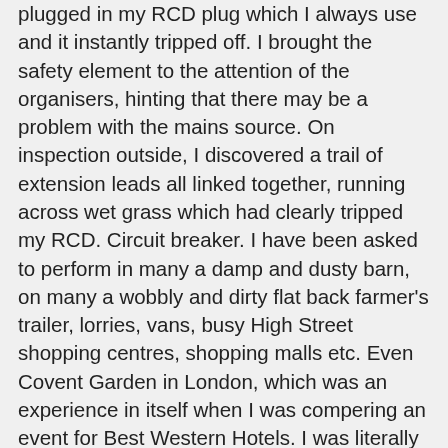plugged in my RCD plug which I always use and it instantly tripped off. I brought the safety element to the attention of the organisers, hinting that there may be a problem with the mains source. On inspection outside, I discovered a trail of extension leads all linked together, running across wet grass which had clearly tripped my RCD. Circuit breaker. I have been asked to perform in many a damp and dusty barn, on many a wobbly and dirty flat back farmer's trailer, lorries, vans, busy High Street shopping centres, shopping malls etc. Even Covent Garden in London, which was an experience in itself when I was compering an event for Best Western Hotels. I was literally tasked to grab shoppers etc. and ask them to come on-stage to do an impromptu performance of any talent they may possess. Great fun & lots of 'thinking on my feet' for that one, and very successful for the client. Another event was an in-store promotion in Platform Building materials stores across several towns & cities in the UK. I was working for Hilti